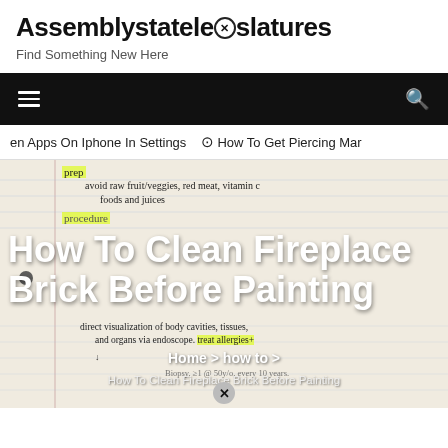Assemblystatelegislatures
Find Something New Here
[Figure (screenshot): Black navigation bar with hamburger menu icon on left and search icon on right]
en Apps On Iphone In Settings  ⊙ How To Get Piercing Mar
[Figure (photo): Handwritten notebook page with medical prep notes overlaid with 'How To Clean Fireplace Brick Before Painting' title text, breadcrumb navigation, and a close button]
How To Clean Fireplace Brick Before Painting
Home > how to >
How To Clean Fireplace Brick Before Painting